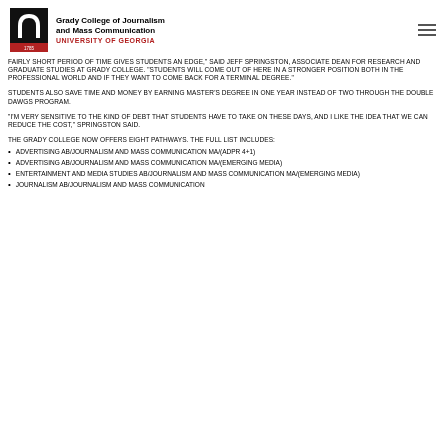Grady College of Journalism and Mass Communication UNIVERSITY OF GEORGIA
FAIRLY SHORT PERIOD OF TIME GIVES STUDENTS AN EDGE," SAID JEFF SPRINGSTON, ASSOCIATE DEAN FOR RESEARCH AND GRADUATE STUDIES AT GRADY COLLEGE. "STUDENTS WILL COME OUT OF HERE IN A STRONGER POSITION BOTH IN THE PROFESSIONAL WORLD AND IF THEY WANT TO COME BACK FOR A TERMINAL DEGREE."
STUDENTS ALSO SAVE TIME AND MONEY BY EARNING MASTER'S DEGREE IN ONE YEAR INSTEAD OF TWO THROUGH THE DOUBLE DAWGS PROGRAM.
"I'M VERY SENSITIVE TO THE KIND OF DEBT THAT STUDENTS HAVE TO TAKE ON THESE DAYS, AND I LIKE THE IDEA THAT WE CAN REDUCE THE COST," SPRINGSTON SAID.
THE GRADY COLLEGE NOW OFFERS EIGHT PATHWAYS. THE FULL LIST INCLUDES:
ADVERTISING AB/JOURNALISM AND MASS COMMUNICATION MA/(ADPR 4+1)
ADVERTISING AB/JOURNALISM AND MASS COMMUNICATION MA/(EMERGING MEDIA)
ENTERTAINMENT AND MEDIA STUDIES AB/JOURNALISM AND MASS COMMUNICATION MA/(EMERGING MEDIA)
JOURNALISM AB/JOURNALISM AND MASS COMMUNICATION